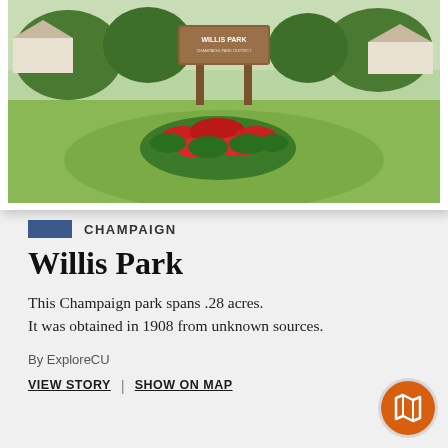[Figure (photo): Photograph of Willis Park entrance sign with a circular flower bed containing red flowers in front, green lawn, trees, and houses in the background.]
CHAMPAIGN
Willis Park
This Champaign park spans .28 acres. It was obtained in 1908 from unknown sources.
By ExploreCU
VIEW STORY | SHOW ON MAP